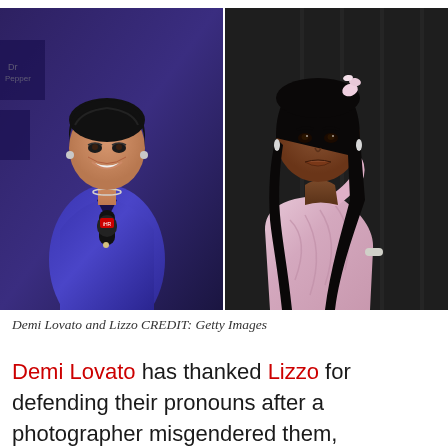[Figure (photo): Side-by-side photos: on the left, Demi Lovato wearing a blue velvet blazer holding a microphone at a red carpet event in front of Dr Pepper signage; on the right, Lizzo wearing a pink one-shoulder draped gown at what appears to be the Grammy Awards, with long black hair and pink hair accessories.]
Demi Lovato and Lizzo CREDIT: Getty Images
Demi Lovato has thanked Lizzo for defending their pronouns after a photographer misgendered them,